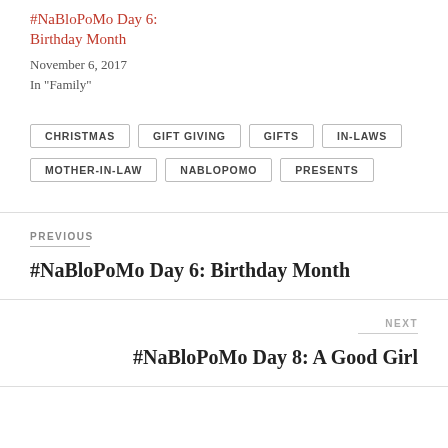#NaBloPoMo Day 6: Birthday Month
November 6, 2017
In "Family"
CHRISTMAS
GIFT GIVING
GIFTS
IN-LAWS
MOTHER-IN-LAW
NABLOPOMO
PRESENTS
PREVIOUS
#NaBloPoMo Day 6: Birthday Month
NEXT
#NaBloPoMo Day 8: A Good Girl